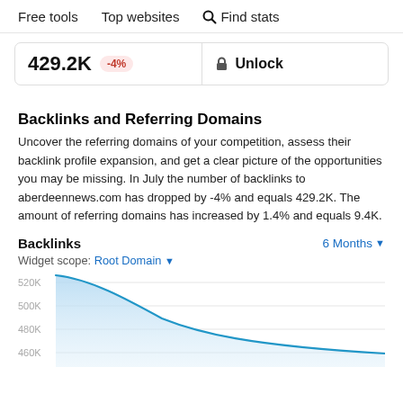Free tools   Top websites   🔍 Find stats
429.2K  -4%   🔒 Unlock
Backlinks and Referring Domains
Uncover the referring domains of your competition, assess their backlink profile expansion, and get a clear picture of the opportunities you may be missing. In July the number of backlinks to aberdeennews.com has dropped by -4% and equals 429.2K. The amount of referring domains has increased by 1.4% and equals 9.4K.
Backlinks   6 Months ▾
Widget scope: Root Domain ▾
[Figure (area-chart): Area chart showing backlinks declining from above 520K down toward 460K over 6 months. The line starts high on the left and trends steeply downward to the right. Y-axis labels: 520K, 500K, 480K, 460K.]